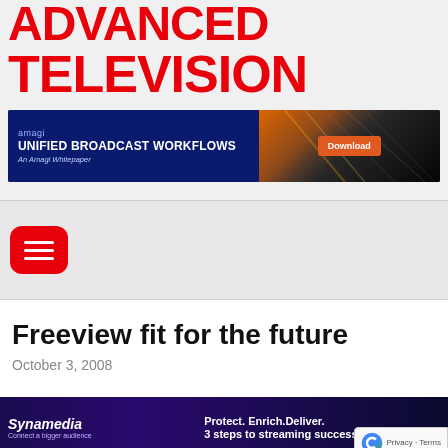ADVANCED TELEVISION
[Figure (screenshot): Amagi advertisement banner: 'UNIFIED BROADCAST WORKFLOWS - An Amagi Whitepaper' with a Download button on a dark blue/orange background]
[Figure (screenshot): Red rounded hamburger/menu button with three white horizontal lines]
Freeview fit for the future
October 3, 2008
[Figure (screenshot): Synamedia advertisement banner: 'Synamedia - Connect a bigger audience' and 'Protect. Enrich. Deliver. 3 steps to streaming success']